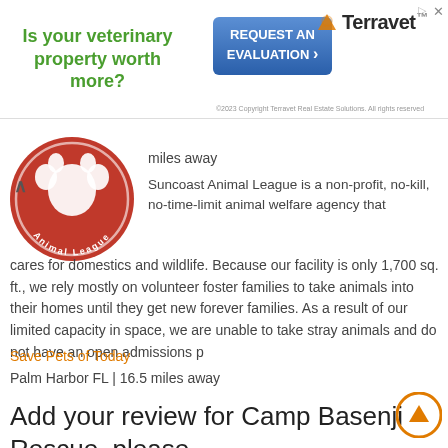[Figure (infographic): Terravet Real Estate Solutions advertisement banner with green bold text 'Is your veterinary property worth more?', a blue REQUEST AN EVALUATION button with arrow, and Terravet logo with mountain icon]
miles away
Suncoast Animal League is a non-profit, no-kill, no-time-limit animal welfare agency that cares for domestics and wildlife. Because our facility is only 1,700 sq. ft., we rely mostly on volunteer foster families to take animals into their homes until they get new forever families. As a result of our limited capacity in space, we are unable to take stray animals and do not have an open admissions p
Save Pets of Today
Palm Harbor FL | 16.5 miles away
Add your review for Camp Basenji Rescue, please...
Email address